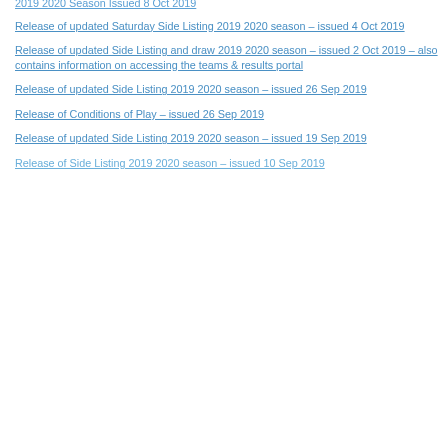2019 2020 Season Issued 8 Oct 2019
Release of updated Saturday Side Listing 2019 2020 season – issued 4 Oct 2019
Release of updated Side Listing and draw 2019 2020 season – issued 2 Oct 2019 – also contains information on accessing the teams & results portal
Release of updated Side Listing 2019 2020 season – issued 26 Sep 2019
Release of Conditions of Play – issued 26 Sep 2019
Release of updated Side Listing 2019 2020 season – issued 19 Sep 2019
Release of Side Listing 2019 2020 season – issued 10 Sep 2019